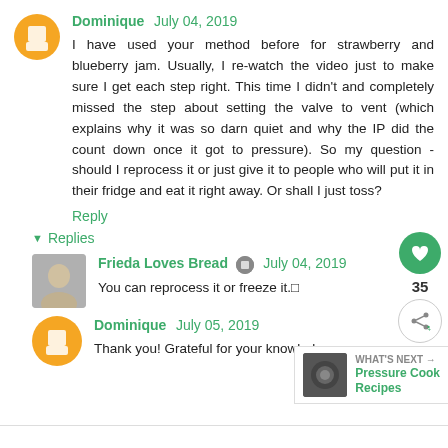Dominique July 04, 2019
I have used your method before for strawberry and blueberry jam. Usually, I re-watch the video just to make sure I get each step right. This time I didn't and completely missed the step about setting the valve to vent (which explains why it was so darn quiet and why the IP did the count down once it got to pressure). So my question - should I reprocess it or just give it to people who will put it in their fridge and eat it right away. Or shall I just toss?
Reply
Replies
Frieda Loves Bread July 04, 2019
You can reprocess it or freeze it.
Dominique July 05, 2019
Thank you! Grateful for your knowledge.